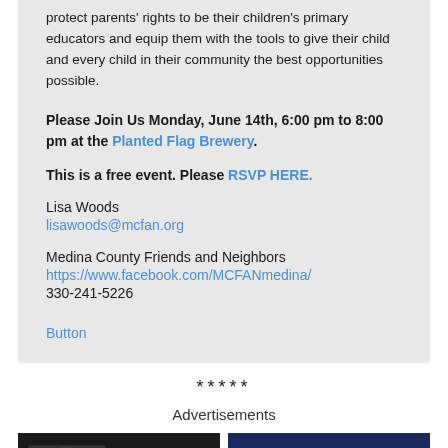protect parents' rights to be their children's primary educators and equip them with the tools to give their child and every child in their community the best opportunities possible.
Please Join Us Monday, June 14th, 6:00 pm to 8:00 pm at the Planted Flag Brewery.
This is a free event. Please RSVP HERE.
Lisa Woods
lisawoods@mcfan.org
Medina County Friends and Neighbors
https://www.facebook.com/MCFANmedina/
330-241-5226
Button
*****
Advertisements
[Figure (photo): Advertisement image on the left, dark background]
[Figure (photo): Advertisement image on the right with text: A CITIZEN'S GUIDE on dark blue background]